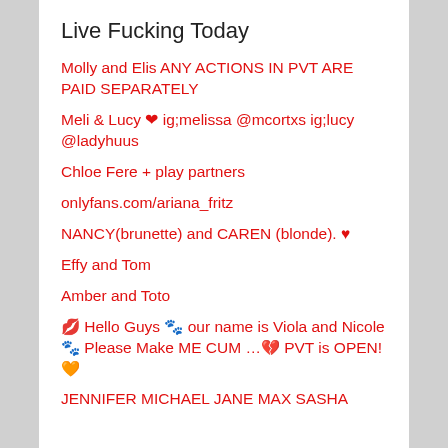Live Fucking Today
Molly and Elis ANY ACTIONS IN PVT ARE PAID SEPARATELY
Meli & Lucy ❤ ig;melissa @mcortxs ig;lucy @ladyhuus
Chloe Fere + play partners
onlyfans.com/ariana_fritz
NANCY(brunette) and CAREN (blonde). ♥
Effy and Tom
Amber and Toto
💋 Hello Guys 🐾 our name is Viola and Nicole 🐾 Please Make ME CUM …💔 PVT is OPEN! 🧡
JENNIFER MICHAEL JANE MAX SASHA